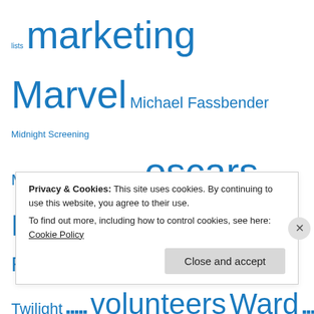lists marketing Marvel Michael Fassbender Midnight Screening Moneyball New Moon oscars Paradise Broken R&D Robert Downey Jr San Diego Comic Con Shame Short Term 12 Sony Star Trek Star Wars Summer Summit Entertainment Super 8 Super Bowl The Artist The Avengers The Dark Knight Rises The Descendants The Help The Hunger Games The Hurt Locker The King's Speech The Social Network The Wolf of Wall Street This Is It Titan XC Top Gun Trailer trailers Twilight volunteers Ward...
Privacy & Cookies: This site uses cookies. By continuing to use this website, you agree to their use.
To find out more, including how to control cookies, see here: Cookie Policy